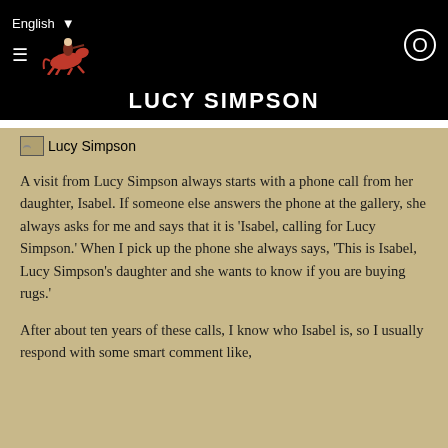English ▼
LUCY SIMPSON
[Figure (illustration): Broken image placeholder showing 'Lucy Simpson' alt text]
A visit from Lucy Simpson always starts with a phone call from her daughter, Isabel. If someone else answers the phone at the gallery, she always asks for me and says that it is 'Isabel, calling for Lucy Simpson.' When I pick up the phone she always says, 'This is Isabel, Lucy Simpson's daughter and she wants to know if you are buying rugs.'
After about ten years of these calls, I know who Isabel is, so I usually respond with some smart comment like,